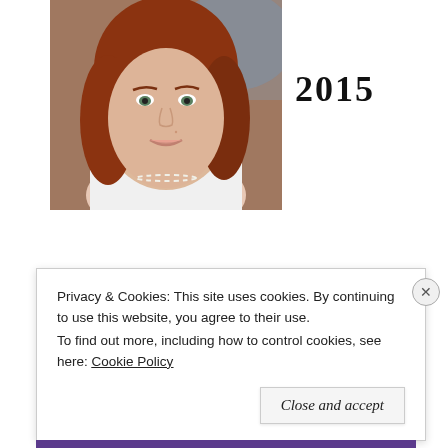[Figure (photo): Portrait photo of a woman with red/auburn hair, green eyes, wearing a white top, taken as a selfie. The image is cropped showing face and upper body.]
2015
Privacy & Cookies: This site uses cookies. By continuing to use this website, you agree to their use.
To find out more, including how to control cookies, see here: Cookie Policy
Close and accept